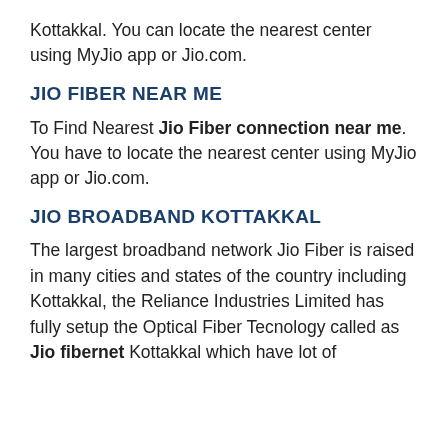Kottakkal. You can locate the nearest center using MyJio app or Jio.com.
JIO FIBER NEAR ME
To Find Nearest Jio Fiber connection near me. You have to locate the nearest center using MyJio app or Jio.com.
JIO BROADBAND KOTTAKKAL
The largest broadband network Jio Fiber is raised in many cities and states of the country including Kottakkal, the Reliance Industries Limited has fully setup the Optical Fiber Tecnology called as Jio fibernet Kottakkal which have lot of